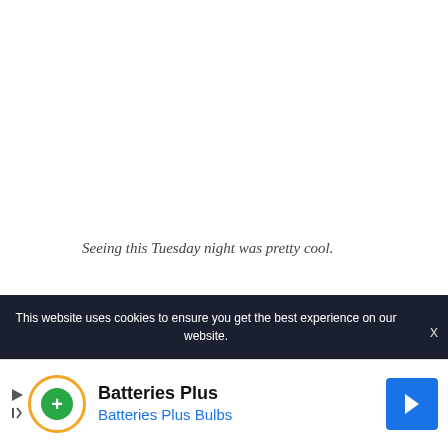Seeing this Tuesday night was pretty cool.
I'm thankful “Full House” has become a crucial part of the Nick at Nite lineup. It’s on for, like, four
This website uses cookies to ensure you get the best experience on our website.
[Figure (infographic): Batteries Plus advertisement banner with logo, company name, and navigation arrow]